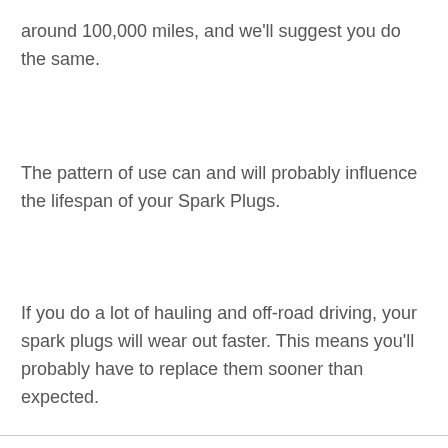around 100,000 miles, and we'll suggest you do the same.
The pattern of use can and will probably influence the lifespan of your Spark Plugs.
If you do a lot of hauling and off-road driving, your spark plugs will wear out faster. This means you'll probably have to replace them sooner than expected.